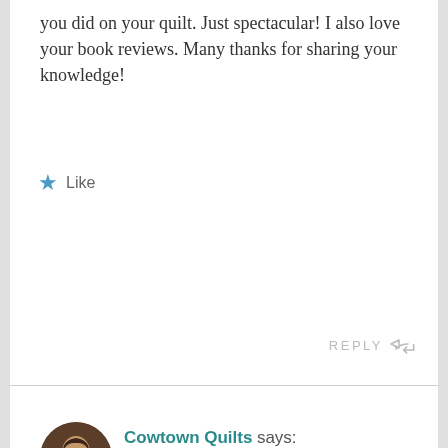you did on your quilt. Just spectacular! I also love your book reviews. Many thanks for sharing your knowledge!
★ Like
REPLY ↩
Cowtown Quilts says:
APRIL 19, 2015 AT 11:19 AM
Aww… thank you for your kind words! All I can
Privacy & Cookies: This site uses cookies. By continuing to use this website, you agree to their use.
To find out more, including how to control cookies, see here: Cookie Policy
Close and accept
to work for free so far! And, as for the book